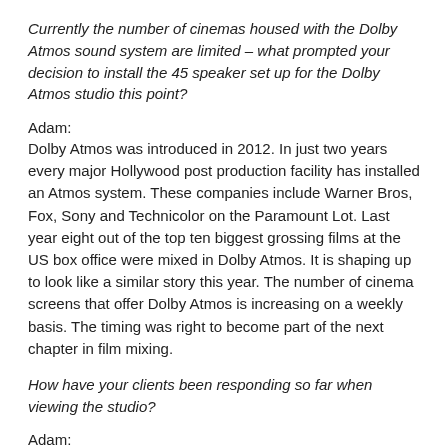Currently the number of cinemas housed with the Dolby Atmos sound system are limited – what prompted your decision to install the 45 speaker set up for the Dolby Atmos studio this point?
Adam:
Dolby Atmos was introduced in 2012. In just two years every major Hollywood post production facility has installed an Atmos system. These companies include Warner Bros, Fox, Sony and Technicolor on the Paramount Lot. Last year eight out of the top ten biggest grossing films at the US box office were mixed in Dolby Atmos. It is shaping up to look like a similar story this year. The number of cinema screens that offer Dolby Atmos is increasing on a weekly basis. The timing was right to become part of the next chapter in film mixing.
How have your clients been responding so far when viewing the studio?
Adam:
It is fair to say that every client who has experienced Dolby Atmos in our room has been blown away by the potential. Sound supervisors, editors, directors and producers have all become very excited by the